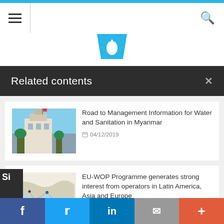Navigation header with hamburger menu and search icon
[Figure (logo): Water drop logo in blue tones above Related contents panel]
Related contents
Road to Management Information for Water and Sanitation in Myanmar
04/12/2019
EU-WOP Programme generates strong interest from operators in Latin America, Asia and Europe
16/03/2021
Social share bar: Facebook, Twitter, LinkedIn, Email, More